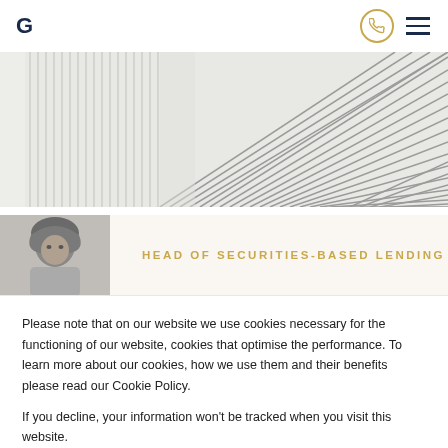G
[Figure (photo): Architectural photograph showing diagonal lines of a modern building structure, black and white, abstract geometric pattern]
[Figure (photo): Black and white portrait photo of a woman wearing a headscarf]
HEAD OF SECURITIES-BASED LENDING
Please note that on our website we use cookies necessary for the functioning of our website, cookies that optimise the performance. To learn more about our cookies, how we use them and their benefits please read our Cookie Policy.
If you decline, your information won't be tracked when you visit this website.